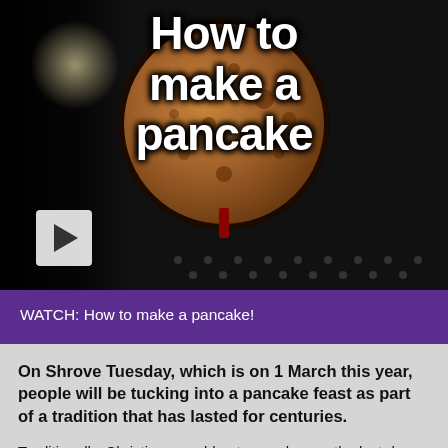[Figure (screenshot): Video thumbnail showing a pancake in a frying pan with text overlay 'How to make a pancake' and a play button]
WATCH: How to make a pancake!
On Shrove Tuesday, which is on 1 March this year, people will be tucking into a pancake feast as part of a tradition that has lasted for centuries.
Traditionally, Christians would eat pancakes on the last day before Lent begins, to use up foods like eggs and milk, before starting 40 days of fasting for lent.